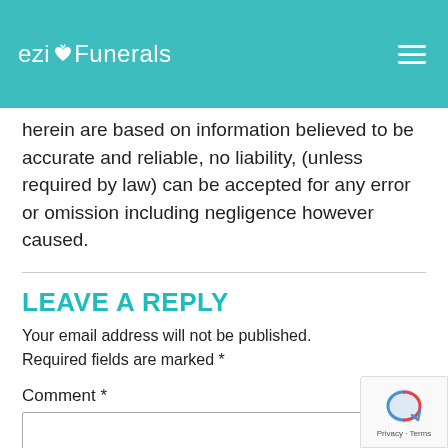eziFunerals
herein are based on information believed to be accurate and reliable, no liability, (unless required by law) can be accepted for any error or omission including negligence however caused.
LEAVE A REPLY
Your email address will not be published. Required fields are marked *
Comment *